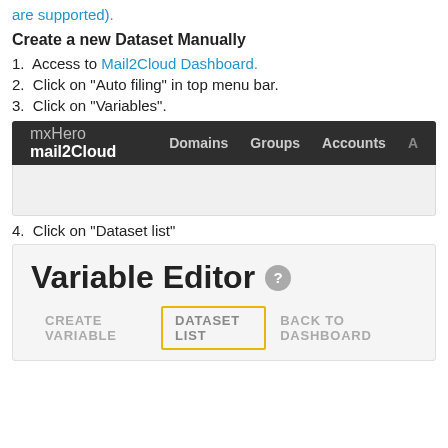are supported).
Create a new Dataset Manually
1. Access to Mail2Cloud Dashboard.
2. Click on "Auto filing" in top menu bar.
3. Click on "Variables".
[Figure (screenshot): Screenshot of mxHero mail2Cloud navigation bar with menu items: Domains, Groups, Accounts, and a partially visible item]
4. Click on "Dataset list"
[Figure (screenshot): Screenshot of Variable Editor page with CREATE VARIABLE, DATASET LIST (highlighted in yellow border), and BACK TO DASHBOARD options]